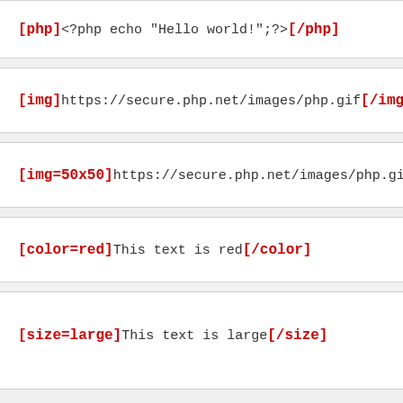[php]<?php echo "Hello world!";?>[/php]
[img]https://secure.php.net/images/php.gif[/img]
[img=50x50]https://secure.php.net/images/php.gif[/img]
[color=red]This text is red[/color]
[size=large]This text is large[/size]